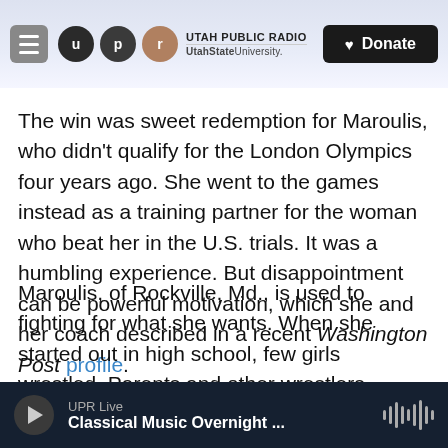Utah Public Radio - UtahState University
The win was sweet redemption for Maroulis, who didn't qualify for the London Olympics four years ago. She went to the games instead as a training partner for the woman who beat her in the U.S. trials. It was a humbling experience. But disappointment can be powerful motivation, which she and her coach described in a recent Washington Post profile.
Maroulis, of Rockville, Md., is used to fighting for what she wants. When she started out in high school, few girls wrestled. Parents and other wrestlers taunted her. Some boys even forfeited
UPR Live - Classical Music Overnight ...